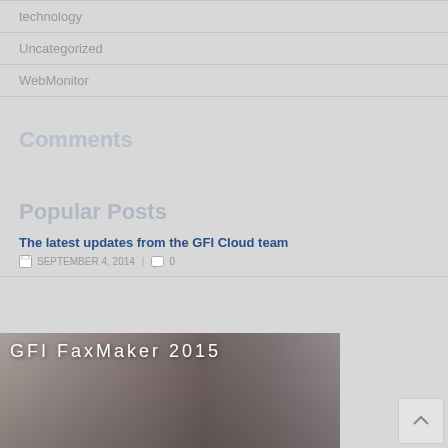technology
Uncategorized
WebMonitor
Comments
Popular Posts
The latest updates from the GFI Cloud team
SEPTEMBER 4, 2014 | 0
[Figure (photo): GFI FaxMaker 2015 thumbnail image showing a man seated in front of monitors]